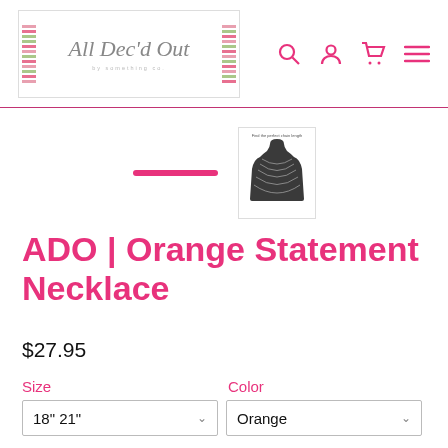All Dec'd Out
[Figure (illustration): Necklace length guide diagram showing a torso silhouette with various necklace lengths labeled]
ADO | Orange Statement Necklace
$27.95
Size
Color
18" 21"
Orange